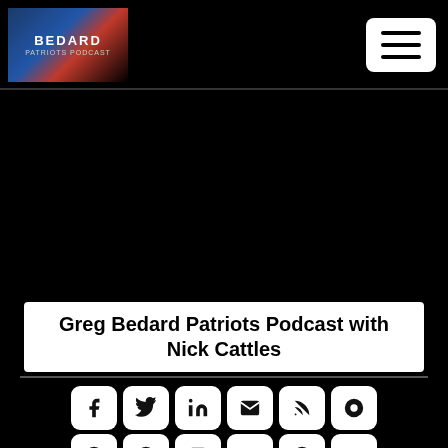[Figure (logo): Greg Bedard Patriots Podcast logo with person image in top left]
[Figure (screenshot): Menu/hamburger button icon in top right header]
[Figure (photo): Black video/media area]
Greg Bedard Patriots Podcast with Nick Cattles
[Figure (infographic): Row of social media and podcast platform icons: Facebook, Twitter, LinkedIn, Email, RSS, Castbox, Apple Podcasts, Podcast Addict, iHeart, Google Podcasts, Spotify, YouTube, RadioPublic]